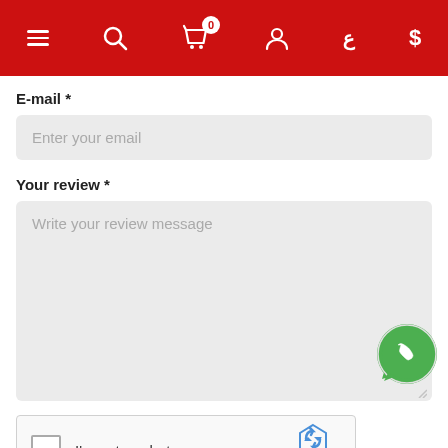Navigation header with menu, search, cart (0), account, currency (ع $) icons
E-mail *
Enter your email
Your review *
Write your review message
[Figure (logo): WhatsApp icon (green circle with phone handset)]
[Figure (other): reCAPTCHA widget with checkbox, 'I'm not a robot' label, and reCAPTCHA logo with Privacy - Terms links]